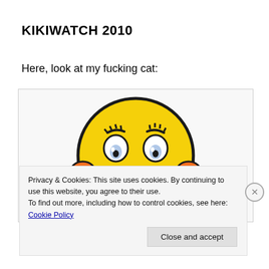KIKIWATCH 2010
Here, look at my fucking cat:
[Figure (illustration): A yellow cartoon emoji-style face with a sad/worried expression, hands raised to temples, wearing orange/red arm accessories, with a blue element at the bottom. The face has large teary eyes and a downturned mouth.]
Privacy & Cookies: This site uses cookies. By continuing to use this website, you agree to their use. To find out more, including how to control cookies, see here: Cookie Policy
Close and accept